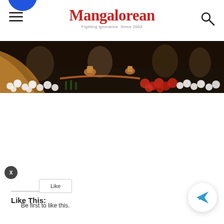Mangalorean - Fighting ignorance. Since 2002
[Figure (photo): A flower-decorated banquet table scene with people seated in a dimly lit setting, featuring white and red flowers as decorations and copper/bronze vessels on the table.]
Like This:
Be first to like this.